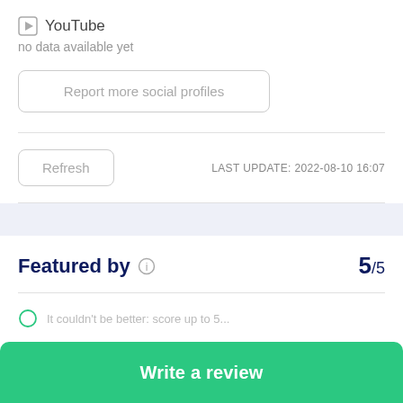YouTube
no data available yet
Report more social profiles
Refresh
LAST UPDATE: 2022-08-10 16:07
Featured by
5/5
Write a review